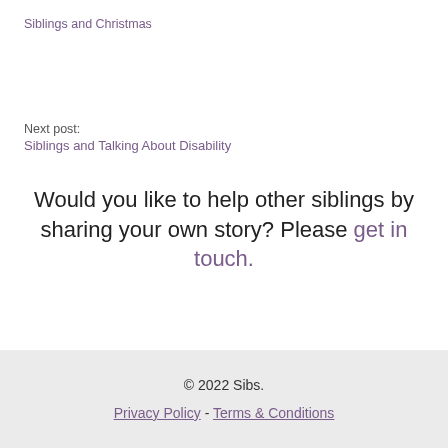Siblings and Christmas
Next post:
Siblings and Talking About Disability
Would you like to help other siblings by sharing your own story? Please get in touch.
© 2022 Sibs.
Privacy Policy - Terms & Conditions